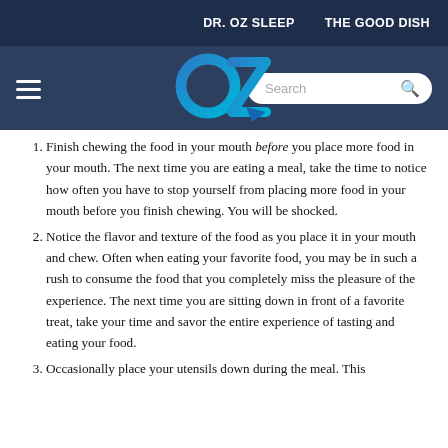DR. OZ SLEEP    THE GOOD DISH
[Figure (logo): Dr. OZ website header with hamburger menu, OZ logo in blue gradient, and a search box]
Finish chewing the food in your mouth before you place more food in your mouth. The next time you are eating a meal, take the time to notice how often you have to stop yourself from placing more food in your mouth before you finish chewing. You will be shocked.
Notice the flavor and texture of the food as you place it in your mouth and chew. Often when eating your favorite food, you may be in such a rush to consume the food that you completely miss the pleasure of the experience. The next time you are sitting down in front of a favorite treat, take your time and savor the entire experience of tasting and eating your food.
Occasionally place your utensils down during the meal. This